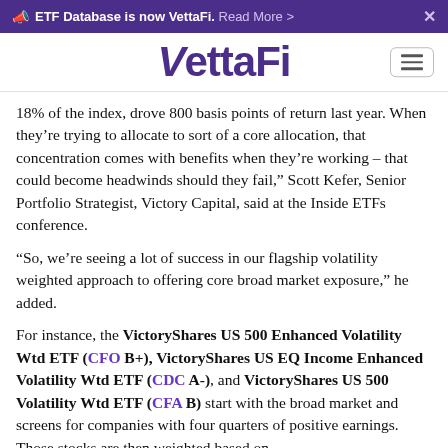ETF Database is now VettaFi. Read More >
[Figure (logo): VettaFi logo in purple with stylized V and hamburger menu button]
18% of the index, drove 800 basis points of return last year. When they’re trying to allocate to sort of a core allocation, that concentration comes with benefits when they’re working – that could become headwinds should they fail,” Scott Kefer, Senior Portfolio Strategist, Victory Capital, said at the Inside ETFs conference.
“So, we’re seeing a lot of success in our flagship volatility weighted approach to offering core broad market exposure,” he added.
For instance, the VictoryShares US 500 Enhanced Volatility Wtd ETF (CFO B+), VictoryShares US EQ Income Enhanced Volatility Wtd ETF (CDC A-), and VictoryShares US 500 Volatility Wtd ETF (CFA B) start with the broad market and screens for companies with four quarters of positive earnings. Those stocks are then weighted based on